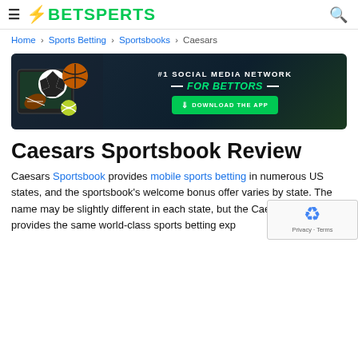≡ BETSPERTS
Home > Sports Betting > Sportsbooks > Caesars
[Figure (infographic): Dark banner ad: #1 Social Media Network FOR BETTORS — DOWNLOAD THE APP button in green, with sports balls image on the left.]
Caesars Sportsbook Review
Caesars Sportsbook provides mobile sports betting in numerous US states, and the sportsbook's welcome bonus offer varies by state. The name may be slightly different in each state, but the Caesars Sportsbook provides the same world-class sports betting exp…